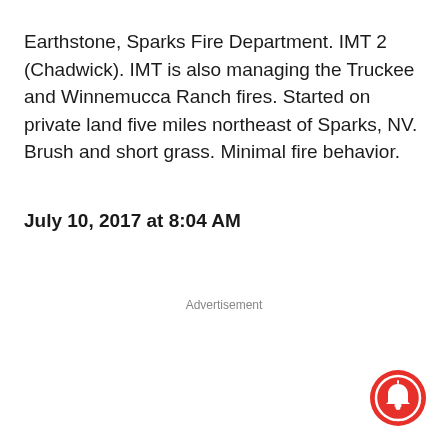Earthstone, Sparks Fire Department. IMT 2 (Chadwick). IMT is also managing the Truckee and Winnemucca Ranch fires. Started on private land five miles northeast of Sparks, NV. Brush and short grass. Minimal fire behavior.
July 10, 2017 at 8:04 AM
Advertisement